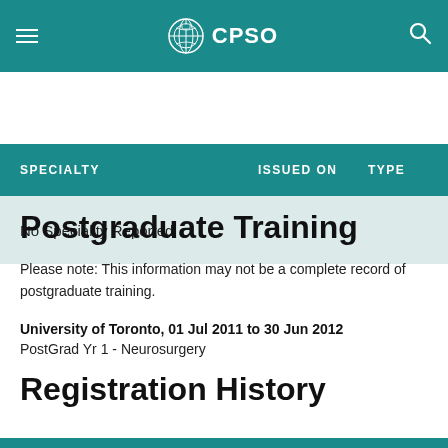CPSO
| SPECIALTY | ISSUED ON | TYPE |
| --- | --- | --- |
| No Speciality Reported |  |  |
Postgraduate Training
Please note: This information may not be a complete record of postgraduate training.
University of Toronto, 01 Jul 2011 to 30 Jun 2012
PostGrad Yr 1 - Neurosurgery
Registration History